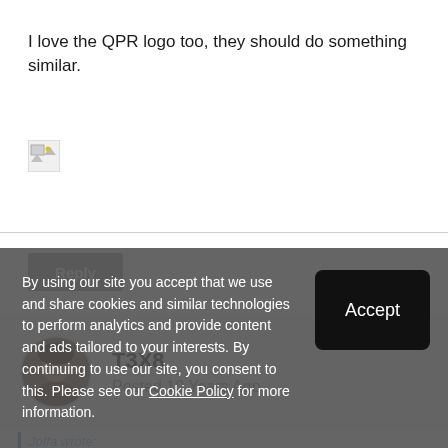I love the QPR logo too, they should do something similar.
[Figure (photo): Broken image placeholder icon]
Reply
T3X8
Posted 10 Years Ago
Joffa wrote:
By using our site you accept that we use and share cookies and similar technologies to perform analytics and provide content and ads tailored to your interests. By continuing to use our site, you consent to this. Please see our Cookie Policy for more information.
Accept